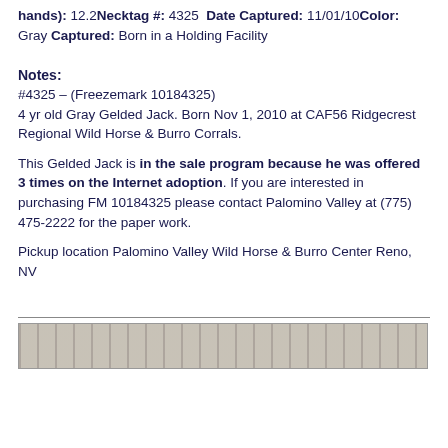hands): 12.2 Necktag #: 4325  Date Captured: 11/01/10 Color: Gray Captured: Born in a Holding Facility
Notes:
#4325 – (Freezemark 10184325)
4 yr old Gray Gelded Jack. Born Nov 1, 2010 at CAF56 Ridgecrest Regional Wild Horse & Burro Corrals.

This Gelded Jack is in the sale program because he was offered 3 times on the Internet adoption. If you are interested in purchasing FM 10184325 please contact Palomino Valley at (775) 475-2222 for the paper work.

Pickup location Palomino Valley Wild Horse & Burro Center Reno, NV
[Figure (photo): Partial photo strip at the bottom of the page showing what appears to be horse corrals or a holding facility exterior.]